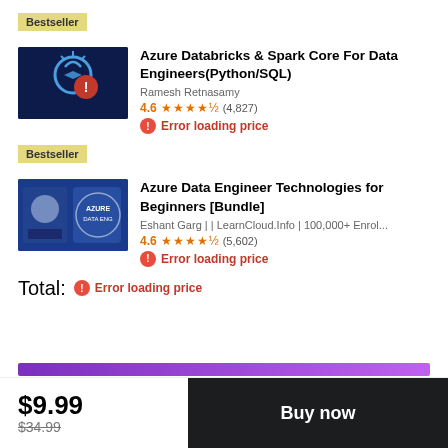Bestseller
Azure Databricks & Spark Core For Data Engineers(Python/SQL)
Ramesh Retnasamy
4.6 ★★★★½ (4,827)
Error loading price
Bestseller
Azure Data Engineer Technologies for Beginners [Bundle]
Eshant Garg | | LearnCloud.Info | 100,000+ Enrol...
4.6 ★★★★½ (5,602)
Error loading price
Total: Error loading price
$9.99
$34.99
Buy now